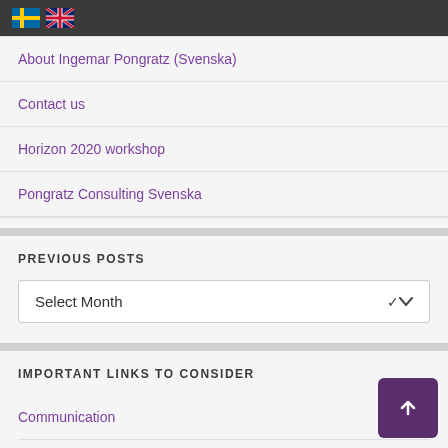Swedish and UK flags
About Ingemar Pongratz (Svenska)
Contact us
Horizon 2020 workshop
Pongratz Consulting Svenska
PREVIOUS POSTS
Select Month
IMPORTANT LINKS TO CONSIDER
Communication
EU Project